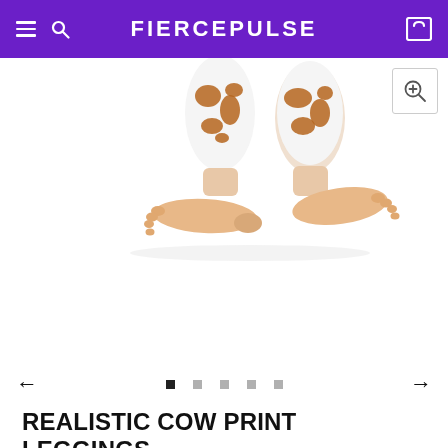FIERCEPULSE
[Figure (photo): Product photo showing bare feet/ankles wearing cow print leggings, cropped to show lower legs and feet on a white background]
REALISTIC COW PRINT LEGGINGS
★★★★★ (1)
$88.99
Size:  XS    Size chart
XS  S  M  L  XL